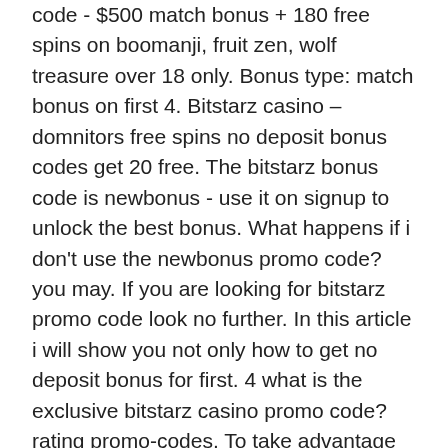code - $500 match bonus + 180 free spins on boomanji, fruit zen, wolf treasure over 18 only. Bonus type: match bonus on first 4. Bitstarz casino – domnitors free spins no deposit bonus codes get 20 free. The bitstarz bonus code is newbonus - use it on signup to unlock the best bonus. What happens if i don't use the newbonus promo code? you may. If you are looking for bitstarz promo code look no further. In this article i will show you not only how to get no deposit bonus for first. 4 what is the exclusive bitstarz casino promo code? rating promo-codes. To take advantage of this promotion, you can use the bonus code igwpcb150. The poker promos are exceptional, including $2,500 weekly To enter a promo code in order to trigger either of these offers. Go cases promo code 2021: irish casino bonus codes 2021. Bitstarz bonus senza deposito , 2. Bir cevrim ici kumarhane asla bonus